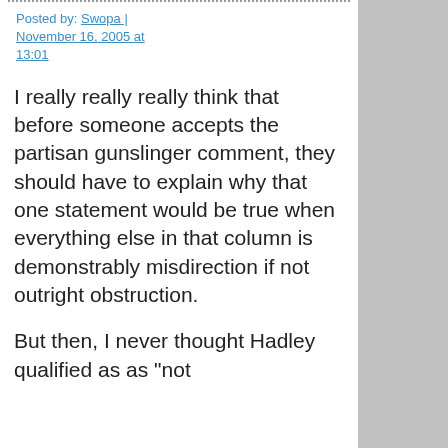Posted by: Swopa | November 16, 2005 at 13:01
I really really really think that before someone accepts the partisan gunslinger comment, they should have to explain why that one statement would be true when everything else in that column is demonstrably misdirection if not outright obstruction.
But then, I never thought Hadley qualified as as "not